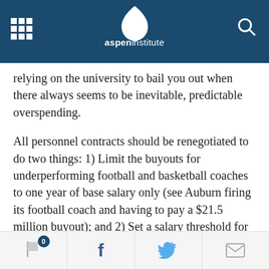aspen institute
relying on the university to bail you out when there always seems to be inevitable, predictable overspending.
All personnel contracts should be renegotiated to do two things: 1) Limit the buyouts for underperforming football and basketball coaches to one year of base salary only (see Auburn firing its football coach and having to pay a $21.5 million buyout); and 2) Set a salary threshold for staff members to permit layoffs in financial distress so that athletic directors don't have to have permission — or go through negotiations — in order to quickly divest the payroll...
0  f  [twitter]  [mail]